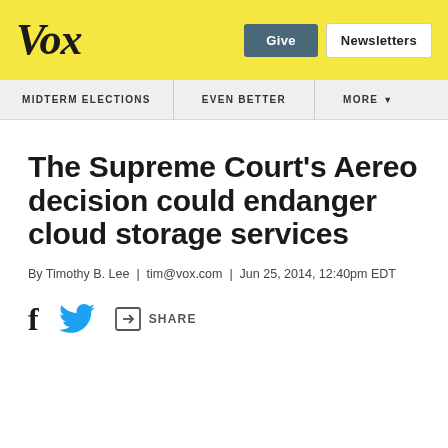Vox | Give | Newsletters
MIDTERM ELECTIONS | EVEN BETTER | MORE
The Supreme Court's Aereo decision could endanger cloud storage services
By Timothy B. Lee | tim@vox.com | Jun 25, 2014, 12:40pm EDT
SHARE